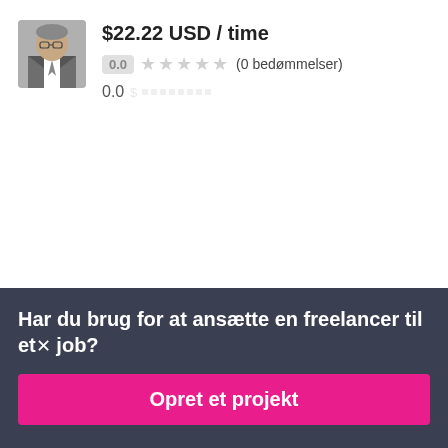$22.22 USD / time
0.0 ★★★★★ (0 bedømmelser)
0.0
maksimjevdjic122
$22.22 USD / time
0.0 ★★★★★ (0 bedømmelser)
Har du brug for at ansætte en freelancer til et job?
Opret et projekt